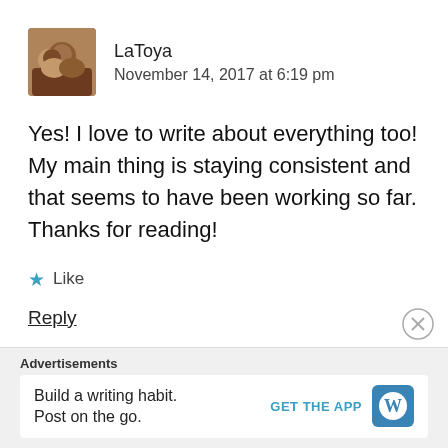[Figure (photo): Avatar photo of LaToya — two women smiling together]
LaToya
November 14, 2017 at 6:19 pm
Yes! I love to write about everything too! My main thing is staying consistent and that seems to have been working so far. Thanks for reading!
★ Like
Reply
Advertisements
Build a writing habit.
Post on the go.
GET THE APP